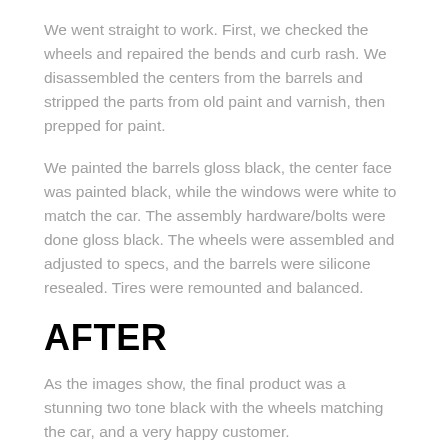We went straight to work. First, we checked the wheels and repaired the bends and curb rash. We disassembled the centers from the barrels and stripped the parts from old paint and varnish, then prepped for paint.
We painted the barrels gloss black, the center face was painted black, while the windows were white to match the car. The assembly hardware/bolts were done gloss black. The wheels were assembled and adjusted to specs, and the barrels were silicone resealed. Tires were remounted and balanced.
AFTER
As the images show, the final product was a stunning two tone black with the wheels matching the car, and a very happy customer.